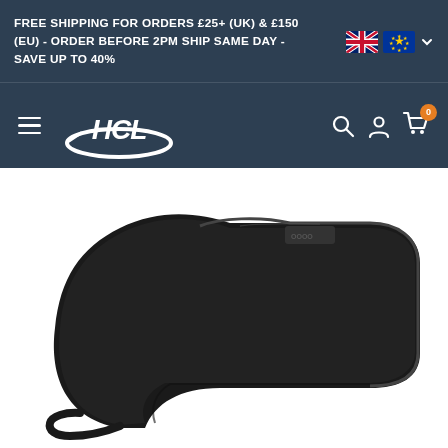FREE SHIPPING FOR ORDERS £25+ (UK) & £150 (EU) - ORDER BEFORE 2PM SHIP SAME DAY - SAVE UP TO 40%
[Figure (logo): HCL hockey brand logo - white text HCL with hockey stick graphic on dark navy background, hamburger menu icon on left, search, account, and cart icons on right]
[Figure (photo): Close-up product photo of a black hockey skate blade holder or similar curved black plastic/rubber hockey accessory on white background]